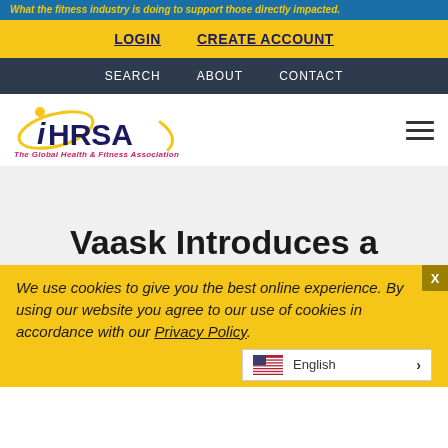What the fitness industry is doing to support those directly impacted.
LOGIN  CREATE ACCOUNT
SEARCH  ABOUT  CONTACT
[Figure (logo): IHRSA logo with tagline 'The Global Health & Fitness Association']
Vaask Introduces a
We use cookies to give you the best online experience. By using our website you agree to our use of cookies in accordance with our Privacy Policy.
English